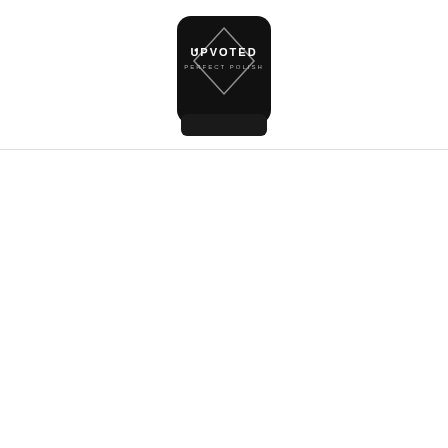[Figure (photo): A black nail polish bottle with 'UPVOTED PERFECT POLISH' branding and a diamond/rhombus logo design on the label, photographed against a white background.]